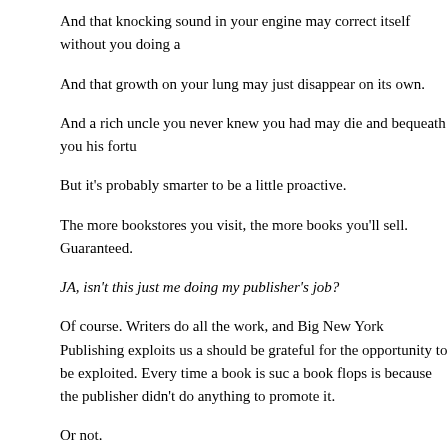And that knocking sound in your engine may correct itself without you doing a
And that growth on your lung may just disappear on its own.
And a rich uncle you never knew you had may die and bequeath you his fortu
But it's probably smarter to be a little proactive.
The more bookstores you visit, the more books you'll sell. Guaranteed.
JA, isn't this just me doing my publisher's job?
Of course. Writers do all the work, and Big New York Publishing exploits us a should be grateful for the opportunity to be exploited. Every time a book is suc a book flops is because the publisher didn't do anything to promote it.
Or not.
Look, it's really very simple. Every book you sell, you make more money. The continue to sell your books. How hard is that to understand?
You can bemoan the hard work all you want, but what job isn't hard? You thou Well, you were wrong. There's no Santa Claus either. Welcome to real life.
JA, you're damn sexy.